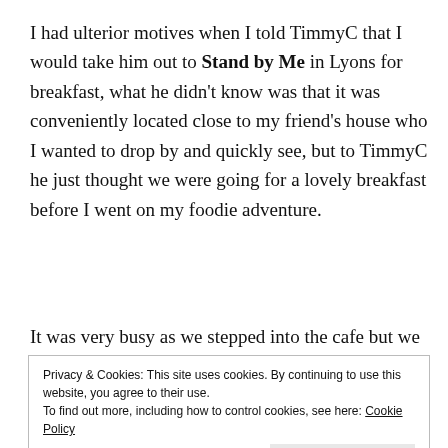I had ulterior motives when I told TimmyC that I would take him out to Stand by Me in Lyons for breakfast, what he didn't know was that it was conveniently located close to my friend's house who I wanted to drop by and quickly see, but to TimmyC he just thought we were going for a lovely breakfast before I went on my foodie adventure.
It was very busy as we stepped into the cafe but we
Privacy & Cookies: This site uses cookies. By continuing to use this website, you agree to their use.
To find out more, including how to control cookies, see here: Cookie Policy
Close and accept